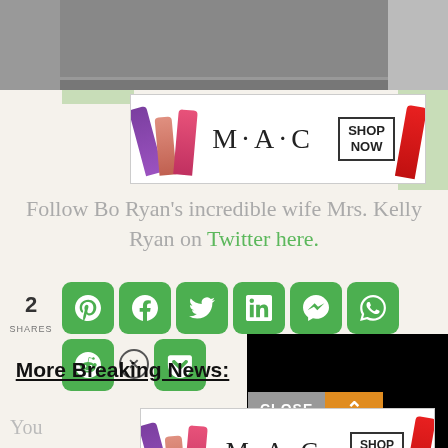[Figure (photo): Partial photo strip at top of page, persons partially visible, blurred]
[Figure (photo): MAC cosmetics advertisement showing lipsticks and SHOP NOW button]
Follow Bo Ryan's incredible wife Mrs. Kelly Ryan on Twitter here.
[Figure (infographic): Social share bar with count of 2 SHARES and green share buttons for Pinterest, Facebook, Twitter, LinkedIn, Messenger, WhatsApp, Reddit, Pocket]
[Figure (screenshot): Black overlay rectangle covering part of share area and right side]
More Breaking News:
[Figure (screenshot): CLOSE button bar with orange arrow and second MAC advertisement showing lipsticks]
You